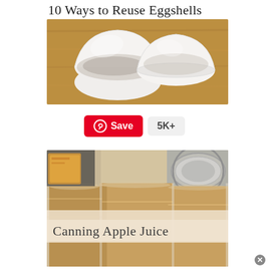10 Ways to Reuse Eggshells
[Figure (photo): Photo of two broken white eggshells on a wooden cutting board surface]
Save  5K+
[Figure (photo): Photo of mason jars filled with canning apple juice, with text overlay reading 'Canning Apple Juice']